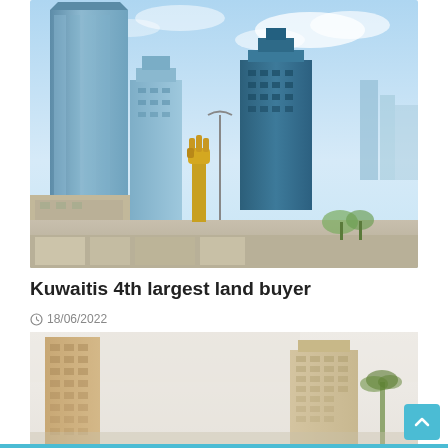[Figure (photo): Skyline of Kuwait City with modern glass skyscrapers under a blue sky, featuring a prominent golden fist sculpture in the foreground.]
Kuwaitis 4th largest land buyer
18/06/2022
[Figure (photo): Street-level view of mid-rise residential apartment buildings in Kuwait, with palm trees visible on the right side and a hazy sky.]